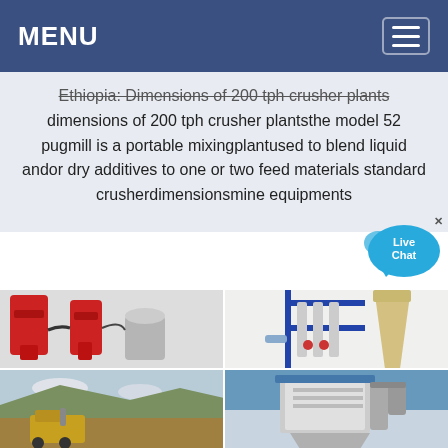MENU
Ethiopia: Dimensions of 200 tph crusher plants dimensions of 200 tph crusher plantsthe model 52 pugmill is a portable mixingplantused to blend liquid andor dry additives to one or two feed materials standard crusherdimensionsmine equipments
[Figure (photo): Four industrial equipment photos in a 2x2 grid: top-left shows red hydraulic/pneumatic industrial machinery; top-right shows a cyclone separator with blue frame and industrial processing equipment; bottom-left shows an open-pit quarry with yellow mining equipment and hillside terrain; bottom-right shows industrial dust collector or filter housing unit with metal ductwork.]